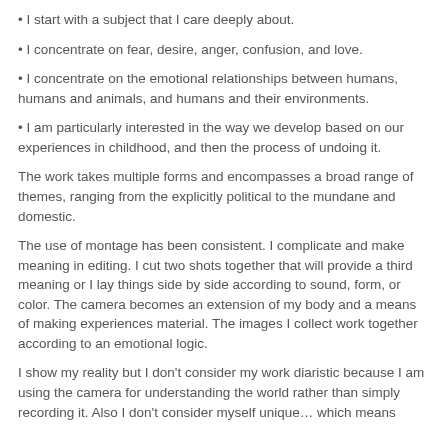• I start with a subject that I care deeply about.
• I concentrate on fear, desire, anger, confusion, and love.
• I concentrate on the emotional relationships between humans, humans and animals, and humans and their environments.
• I am particularly interested in the way we develop based on our experiences in childhood, and then the process of undoing it.
The work takes multiple forms and encompasses a broad range of themes, ranging from the explicitly political to the mundane and domestic.
The use of montage has been consistent. I complicate and make meaning in editing. I cut two shots together that will provide a third meaning or I lay things side by side according to sound, form, or color. The camera becomes an extension of my body and a means of making experiences material. The images I collect work together according to an emotional logic.
I show my reality but I don't consider my work diaristic because I am using the camera for understanding the world rather than simply recording it. Also I don't consider myself unique… which means